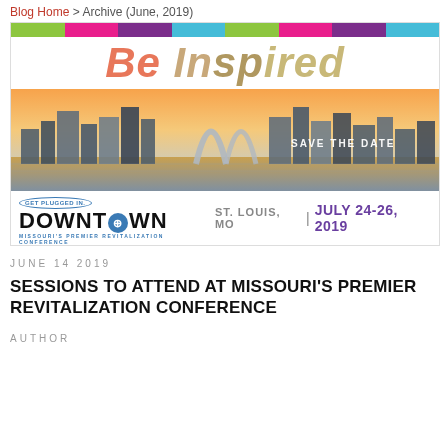Blog Home > Archive (June, 2019)
[Figure (illustration): Downtown conference banner: colored strip at top, 'Be Inspired' text in large italic font, St. Louis cityscape photo with Gateway Arch at sunset, 'GET PLUGGED IN' logo, 'DOWNTOWN' text, 'SAVE THE DATE', 'ST. LOUIS, MO | JULY 24-26, 2019']
JUNE 14 2019
SESSIONS TO ATTEND AT MISSOURI'S PREMIER REVITALIZATION CONFERENCE
AUTHOR